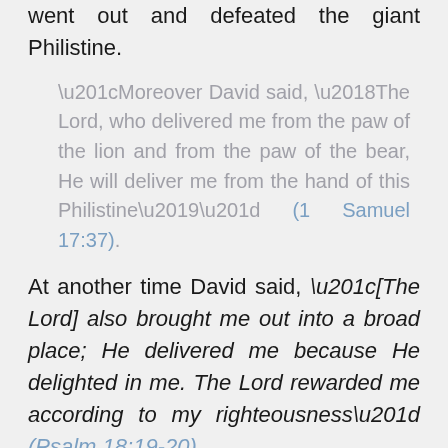went out and defeated the giant Philistine.
“Moreover David said, ‘The Lord, who delivered me from the paw of the lion and from the paw of the bear, He will deliver me from the hand of this Philistine’” (1 Samuel 17:37).
At another time David said, “[The Lord] also brought me out into a broad place; He delivered me because He delighted in me. The Lord rewarded me according to my righteousness” (Psalm 18:19-20).
If you ever feel like you are being